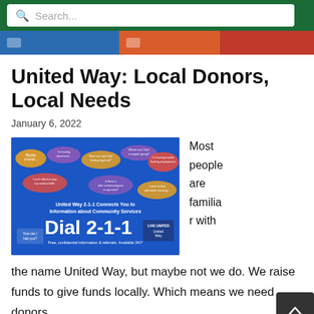Search...
[Figure (screenshot): Color navigation strip with blue, orange, and red sections]
United Way: Local Donors, Local Needs
January 6, 2022
[Figure (photo): United Way 2-1-1 promotional banner: 'United Way 2-1-1 Connects You to Information about Community Services. Dial 2-1-1. Free, confidential information & referrals. Available 24/7. LIVE UNITED United Way logo.' with speech bubbles showing community questions.]
Most people are familiar with the name United Way, but maybe not we do. We raise funds to give funds locally. Which means we need donors